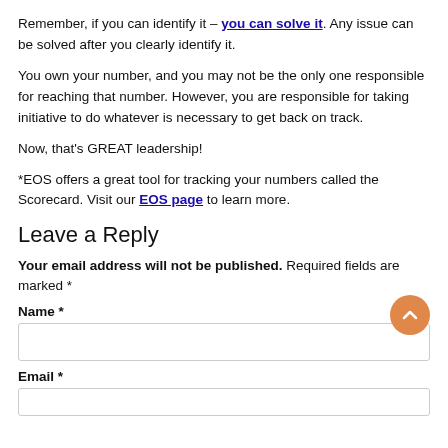Remember, if you can identify it – you can solve it. Any issue can be solved after you clearly identify it.
You own your number, and you may not be the only one responsible for reaching that number. However, you are responsible for taking initiative to do whatever is necessary to get back on track.
Now, that's GREAT leadership!
*EOS offers a great tool for tracking your numbers called the Scorecard. Visit our EOS page to learn more.
Leave a Reply
Your email address will not be published. Required fields are marked *
Name *
Email *